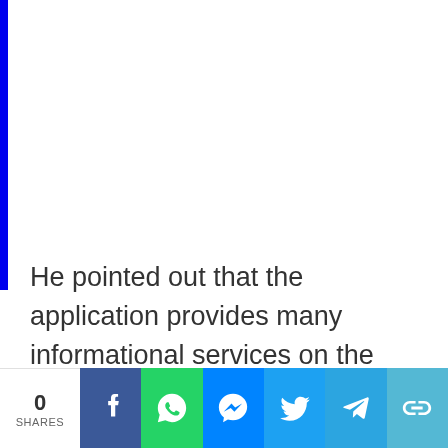He pointed out that the application provides many informational services on the platform, which contributes to saving time and effort for users.
0 SHARES | Social share bar with Facebook, WhatsApp, Messenger, Twitter, Telegram, and link buttons